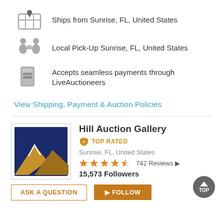Ships from Sunrise, FL, United States
Local Pick-Up Sunrise, FL, United States
Accepts seamless payments through LiveAuctioneers
View Shipping, Payment & Auction Policies
Hill Auction Gallery
TOP RATED
Sunrise, FL, United States
742 Reviews
15,573 Followers
ASK A QUESTION
FOLLOW